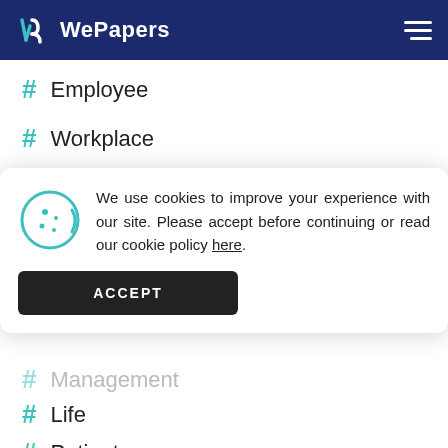WePapers
# Employee
# Workplace
# Motivation
We use cookies to improve your experience with our site. Please accept before continuing or read our cookie policy here.
# Management
# Life
# Patient